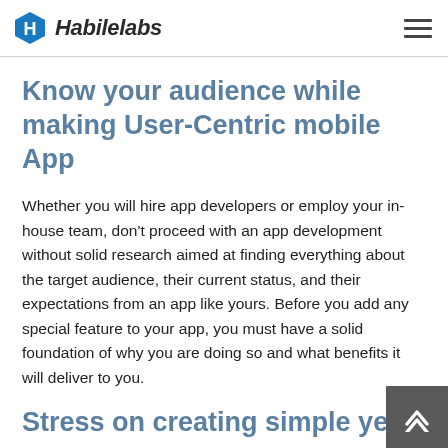Habilelabs
Know your audience while making User-Centric mobile App
Whether you will hire app developers or employ your in-house team, don't proceed with an app development without solid research aimed at finding everything about the target audience, their current status, and their expectations from an app like yours. Before you add any special feature to your app, you must have a solid foundation of why you are doing so and what benefits it will deliver to you.
Stress on creating simple yet